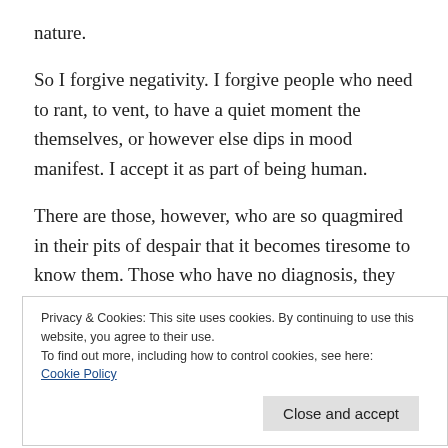nature.
So I forgive negativity. I forgive people who need to rant, to vent, to have a quiet moment the themselves, or however else dips in mood manifest. I accept it as part of being human.
There are those, however, who are so quagmired in their pits of despair that it becomes tiresome to know them. Those who have no diagnosis, they are not depressed.
Privacy & Cookies: This site uses cookies. By continuing to use this website, you agree to their use.
To find out more, including how to control cookies, see here:
Cookie Policy
things are and everything is shit. Who moan –